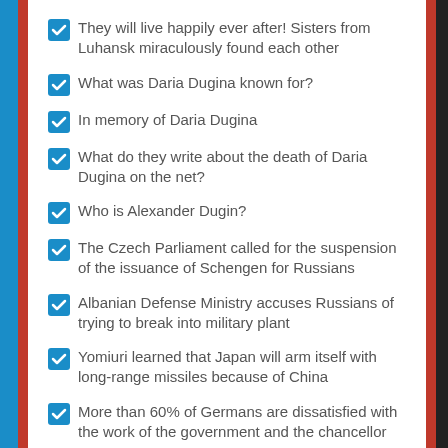They will live happily ever after! Sisters from Luhansk miraculously found each other
What was Daria Dugina known for?
In memory of Daria Dugina
What do they write about the death of Daria Dugina on the net?
Who is Alexander Dugin?
The Czech Parliament called for the suspension of the issuance of Schengen for Russians
Albanian Defense Ministry accuses Russians of trying to break into military plant
Yomiuri learned that Japan will arm itself with long-range missiles because of China
More than 60% of Germans are dissatisfied with the work of the government and the chancellor